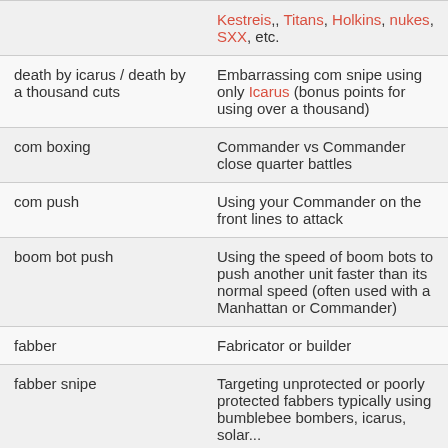| Term | Definition |
| --- | --- |
|  | Kestreis,, Titans, Holkins, nukes, SXX, etc. |
| death by icarus / death by a thousand cuts | Embarrassing com snipe using only Icarus (bonus points for using over a thousand) |
| com boxing | Commander vs Commander close quarter battles |
| com push | Using your Commander on the front lines to attack |
| boom bot push | Using the speed of boom bots to push another unit faster than its normal speed (often used with a Manhattan or Commander) |
| fabber | Fabricator or builder |
| fabber snipe | Targeting unprotected or poorly protected fabbers typically using bumblebee bombers, icarus, solar... |